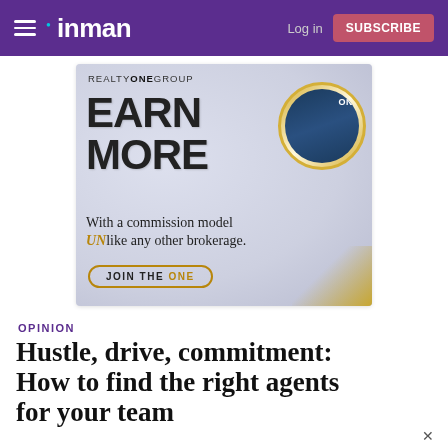inman | Log in | SUBSCRIBE
[Figure (illustration): Realty ONE Group advertisement: 'EARN MORE - With a commission model UNlike any other brokerage. JOIN THE ONE']
OPINION
Hustle, drive, commitment: How to find the right agents for your team